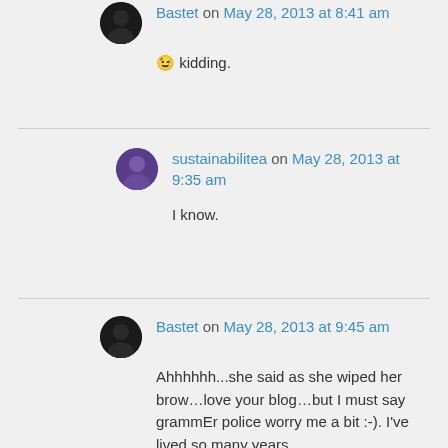Bastet on May 28, 2013 at 8:41 am
😉 kidding.
sustainabilitea on May 28, 2013 at 9:35 am
I know.
Bastet on May 28, 2013 at 9:45 am
Ahhhhhh...she said as she wiped her brow…love your blog…but I must say grammEr police worry me a bit :-). I've lived so many years